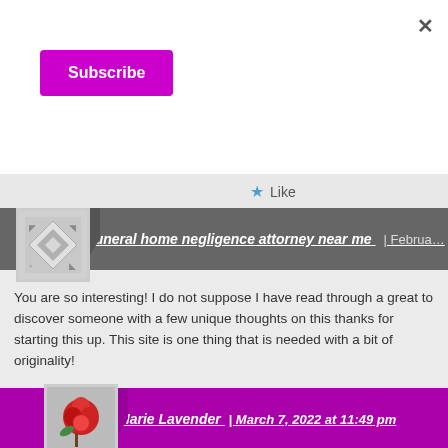[Figure (screenshot): Subscribe button (purple/magenta) on white background]
×
★ Like
funeral home negligence attorney near me | Februa…
You are so interesting! I do not suppose I have read through a great to discover someone with a few unique thoughts on this thanks for starting this up. This site is one thing that is needed with a bit of originality!
★ Like
Marie Lavender | March 7, 2022 at 11:49 pm